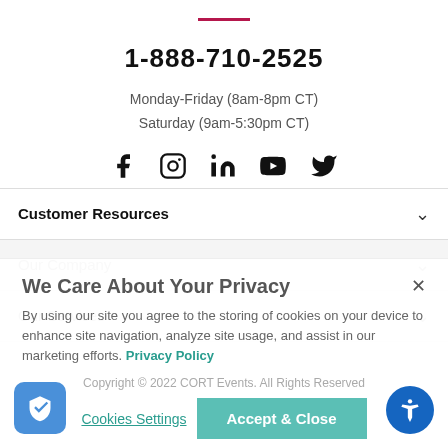1-888-710-2525
Monday-Friday (8am-8pm CT)
Saturday (9am-5:30pm CT)
[Figure (infographic): Social media icons: Facebook, Instagram, LinkedIn, YouTube, Twitter]
Customer Resources
Our Company
Our Services
We Care About Your Privacy
By using our site you agree to the storing of cookies on your device to enhance site navigation, analyze site usage, and assist in our marketing efforts. Privacy Policy
Copyright © 2022 CORT Events. All Rights Reserved
Terms & Conditions | Privacy Policy